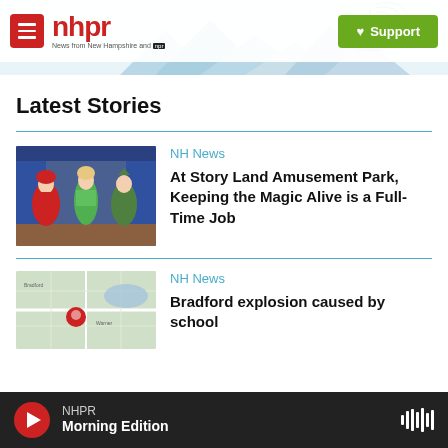nhpr — News from New Hampshire and NPR | Support
[Figure (illustration): NHPR website screenshot with mountain and radio tower silhouette in light blue/teal behind the header]
Latest Stories
[Figure (photo): Performers in costume at Story Land Amusement Park — characters include Little Red Riding Hood and Peter Pan]
NH News
At Story Land Amusement Park, Keeping the Magic Alive is a Full-Time Job
[Figure (map): Map thumbnail showing Bradford NH area with a red location pin]
NH News
Bradford explosion caused by school
NHPR Morning Edition